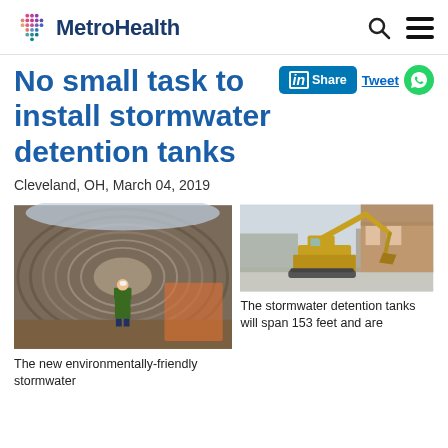MetroHealth
No small task to install stormwater detention tanks
Cleveland, OH, March 04, 2019
[Figure (photo): Person in hi-vis jacket and hard hat standing inside a large corrugated metal stormwater detention tank]
[Figure (photo): Excavator digging at a construction site near a residential building in winter]
The new environmentally-friendly stormwater
The stormwater detention tanks will span 153 feet and are